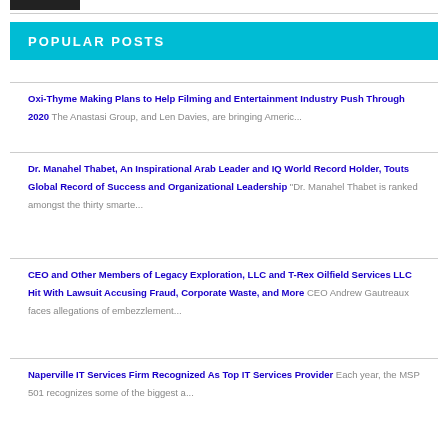POPULAR POSTS
Oxi-Thyme Making Plans to Help Filming and Entertainment Industry Push Through 2020 The Anastasi Group, and Len Davies, are bringing Americ...
Dr. Manahel Thabet, An Inspirational Arab Leader and IQ World Record Holder, Touts Global Record of Success and Organizational Leadership "Dr. Manahel Thabet is ranked amongst the thirty smarte...
CEO and Other Members of Legacy Exploration, LLC and T-Rex Oilfield Services LLC Hit With Lawsuit Accusing Fraud, Corporate Waste, and More CEO Andrew Gautreaux faces allegations of embezzlement...
Naperville IT Services Firm Recognized As Top IT Services Provider Each year, the MSP 501 recognizes some of the biggest a...